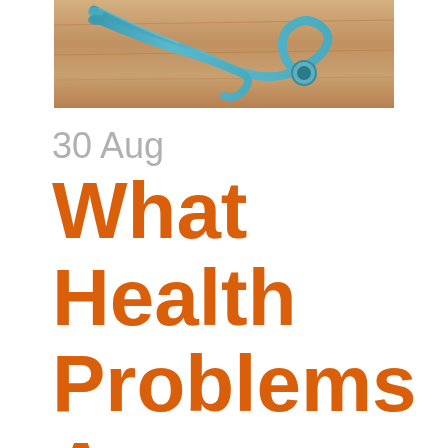[Figure (photo): Photo of a stethoscope on a wooden surface, with teal/turquoise tubing visible]
30 Aug What Health Problems Are Associated with Bad Teeth?